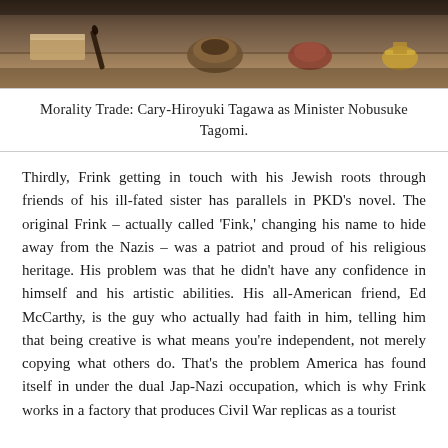[Figure (photo): A photograph showing desk objects including what appears to be a pen/writing instrument, an inkwell or rounded object, and other items on a table surface, with warm brown tones.]
Morality Trade: Cary-Hiroyuki Tagawa as Minister Nobusuke Tagomi.
Thirdly, Frink getting in touch with his Jewish roots through friends of his ill-fated sister has parallels in PKD's novel. The original Frink – actually called 'Fink,' changing his name to hide away from the Nazis – was a patriot and proud of his religious heritage. His problem was that he didn't have any confidence in himself and his artistic abilities. His all-American friend, Ed McCarthy, is the guy who actually had faith in him, telling him that being creative is what means you're independent, not merely copying what others do. That's the problem America has found itself in under the dual Jap-Nazi occupation, which is why Frink works in a factory that produces Civil War replicas as a tourist